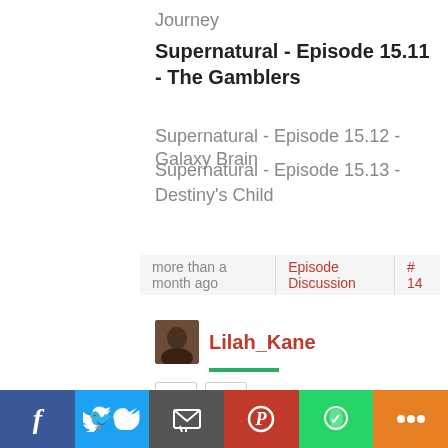Journey
Supernatural - Episode 15.11 - The Gamblers
Supernatural - Episode 15.12 - Galaxy Brain
Supernatural - Episode 15.13 - Destiny's Child
more than a month ago  Episode Discussion  # 14
Lilah_Kane
0
Votes